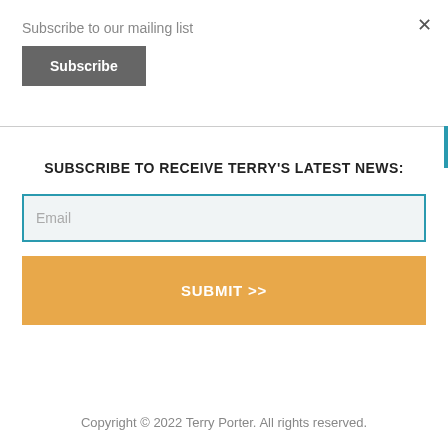Subscribe to our mailing list
Subscribe
×
SUBSCRIBE TO RECEIVE TERRY'S LATEST NEWS:
Email
SUBMIT >>
Copyright © 2022 Terry Porter. All rights reserved.